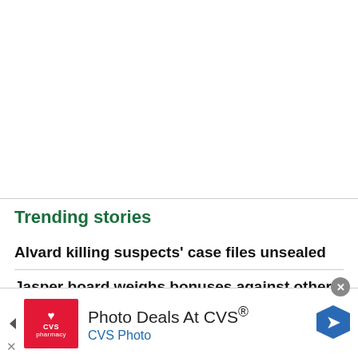Trending stories
Alvard killing suspects' case files unsealed
Jasper board weighs bonuses against other
[Figure (screenshot): CVS Pharmacy advertisement banner with red CVS pharmacy logo, text 'Photo Deals At CVS®' and 'CVS Photo' in blue, with a blue navigation arrow icon on the right and a close button (X) at top right.]